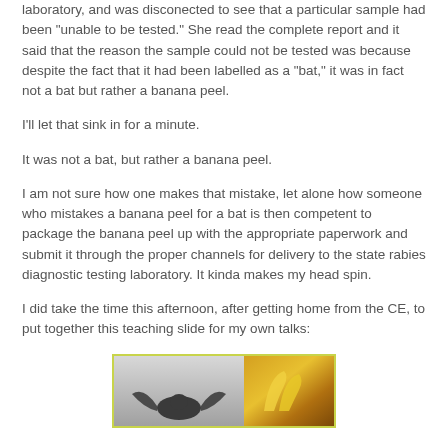laboratory, and was disconected to see that a particular sample had been "unable to be tested." She read the complete report and it said that the reason the sample could not be tested was because despite the fact that it had been labelled as a "bat," it was in fact not a bat but rather a banana peel.
I'll let that sink in for a minute.
It was not a bat, but rather a banana peel.
I am not sure how one makes that mistake, let alone how someone who mistakes a banana peel for a bat is then competent to package the banana peel up with the appropriate paperwork and submit it through the proper channels for delivery to the state rabies diagnostic testing laboratory. It kinda makes my head spin.
I did take the time this afternoon, after getting home from the CE, to put together this teaching slide for my own talks:
[Figure (photo): A framed image with yellow-green border containing two side-by-side photos: on the left, a dark bat specimen photographed against a gray background; on the right, a golden-brown banana peel.]